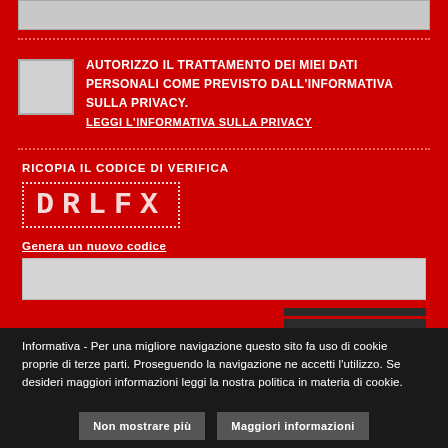[input field top]
AUTORIZZO IL TRATTAMENTO DEI MIEI DATI PERSONALI COME PREVISTO DALL'INFORMATIVA SULLA PRIVACY. LEGGI L'INFORMATIVA SULLA PRIVACY
RICOPIA IL CODICE DI VERIFICA
DRLFX
Genera un nuovo codice
[captcha input field]
INVIA
Informativa - Per una migliore navigazione questo sito fa uso di cookie proprie di terze parti. Proseguendo la navigazione ne accetti l'utilizzo. Se desideri maggiori informazioni leggi la nostra politica in materia di cookie.
Non mostrare più
Maggiori informazioni